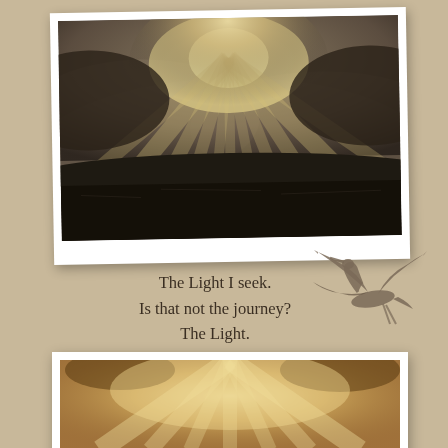[Figure (photo): A dramatic landscape photo showing sunlight rays bursting through mist and clouds over a dark field, mounted in a white photo frame with slight rotation]
[Figure (illustration): Silhouette of a large bird (heron or crane) in flight, wings spread, dark against the warm beige background]
The Light I seek.
Is that not the journey?
The Light.
Light that seeks to erase the dark?
Light that splits open the night?
[Figure (photo): A second landscape photo showing warm golden sunlight radiating through trees and foliage, mounted in a white photo frame, partially visible at bottom of page]